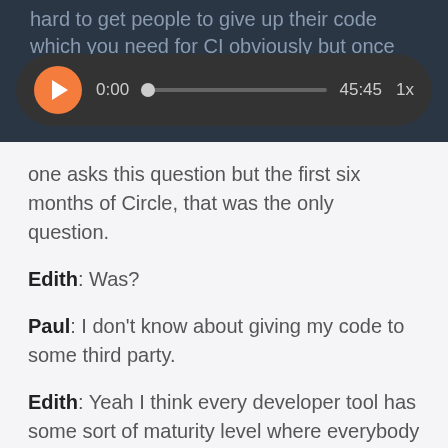hard to get people to give up their code which you need for CI obviously but once the
[Figure (screenshot): Audio player widget with orange play button, time display showing 0:00, progress bar with dot at start, end time 45:45, and playback speed 1x, all on a dark rounded rectangle background]
one asks this question but the first six months of Circle, that was the only question.
Edith: Was?
Paul: I don't know about giving my code to some third party.
Edith: Yeah I think every developer tool has some sort of maturity level where everybody thinks there's no way in hell that I could have somebody else handle this.